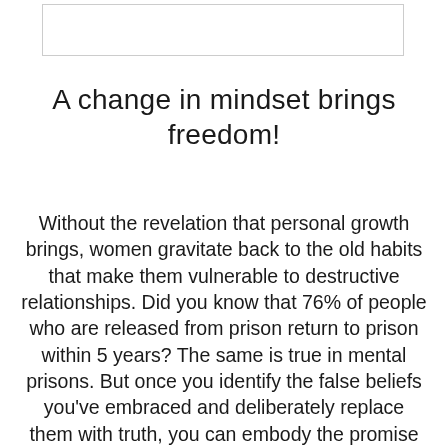[Figure (other): Empty rectangular box at the top of the page, appears to be a placeholder or input field with a border]
A change in mindset brings freedom!
Without the revelation that personal growth brings, women gravitate back to the old habits that make them vulnerable to destructive relationships. Did you know that 76% of people who are released from prison return to prison within 5 years? The same is true in mental prisons. But once you identify the false beliefs you've embraced and deliberately replace them with truth, you can embody the promise in Proverbs 31:25